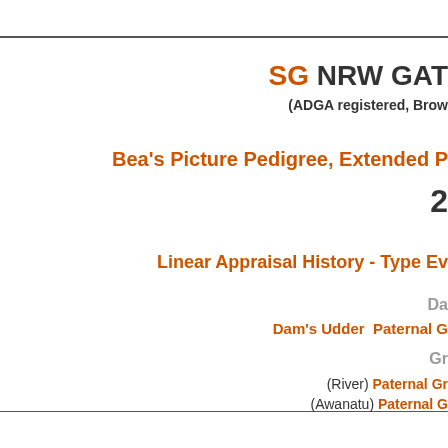SG NRW GAT
(ADGA registered, Brow...
Bea's Picture Pedigree, Extended P
2
Linear Appraisal History - Type Ev
Da
Dam's Udder  Paternal G
Gr
(River) Paternal Gr
(Awanatu) Paternal G